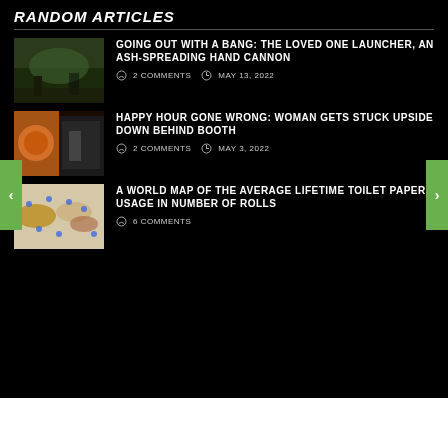RANDOM ARTICLES
GOING OUT WITH A BANG: THE LOVED ONE LAUNCHER, AN ASH-SPREADING HAND CANNON
2 COMMENTS   MAY 13, 2022
HAPPY HOUR GONE WRONG: WOMAN GETS STUCK UPSIDE DOWN BEHIND BOOTH
2 COMMENTS   MAY 3, 2022
A WORLD MAP OF THE AVERAGE LIFETIME TOILET PAPER USAGE IN NUMBER OF ROLLS
6 COMMENTS